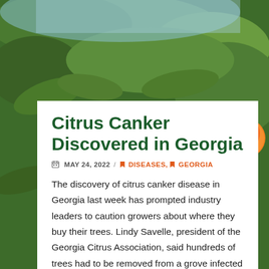[Figure (photo): Citrus tree with green leaves and an orange fruit visible, photographed with a blue sky background. Lush green foliage fills most of the frame.]
Citrus Canker Discovered in Georgia
MAY 24, 2022 / DISEASES, GEORGIA
The discovery of citrus canker disease in Georgia last week has prompted industry leaders to caution growers about where they buy their trees. Lindy Savelle, president of the Georgia Citrus Association, said hundreds of trees had to be removed from a grove infected with citrus canker. The trees were not from a Georgia certified nursery. She said the best way